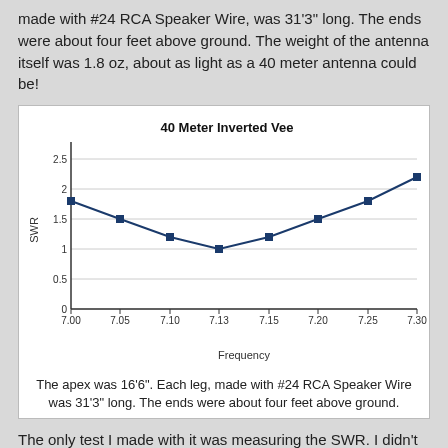made with #24 RCA Speaker Wire, was 31'3" long. The ends were about four feet above ground. The weight of the antenna itself was 1.8 oz, about as light as a 40 meter antenna could be!
[Figure (line-chart): 40 Meter Inverted Vee]
The apex was 16'6". Each leg, made with #24 RCA Speaker Wire was 31'3" long. The ends were about four feet above ground.
The only test I made with it was measuring the SWR. I didn't attempt any contacts. However, prior to "tossing in the towel"